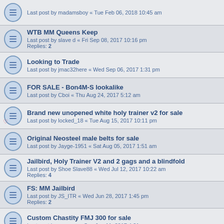Last post by madamsboy « Tue Feb 06, 2018 10:45 am
WTB MM Queens Keep
Last post by slave d « Fri Sep 08, 2017 10:16 pm
Replies: 2
Looking to Trade
Last post by jmac32here « Wed Sep 06, 2017 1:31 pm
FOR SALE - Bon4M-S lookalike
Last post by Cboi « Thu Aug 24, 2017 5:12 am
Brand new unopened white holy trainer v2 for sale
Last post by locked_18 « Tue Aug 15, 2017 10:11 pm
Original Neosteel male belts for sale
Last post by Jayge-1951 « Sat Aug 05, 2017 1:51 am
Jailbird, Holy Trainer V2 and 2 gags and a blindfold
Last post by Shoe Slave88 « Wed Jul 12, 2017 10:22 am
Replies: 4
FS: MM Jailbird
Last post by JS_ITR « Wed Jun 28, 2017 1:45 pm
Replies: 2
Custom Chastity FMJ 300 for sale
Last post by omunyo « Sun Jun 11, 2017 4:21 am
New Topic | 170 topics | 1 2 3 4 5 6 7